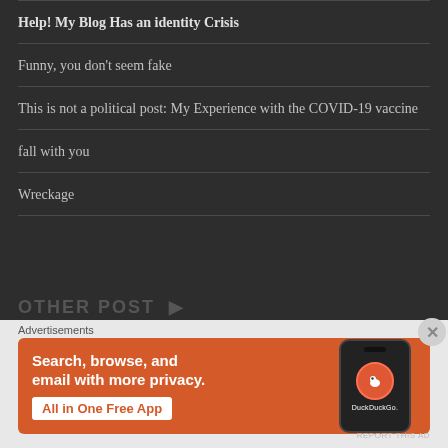Help! My Blog Has an identity Crisis
Funny, you don't seem fake
This is not a political post: My Experience with the COVID-19 vaccine
fall with you
Wreckage
Advertisements
[Figure (screenshot): DuckDuckGo advertisement banner on orange background. Text reads: Search, browse, and email with more privacy. All in One Free App. Shows a phone with DuckDuckGo logo.]